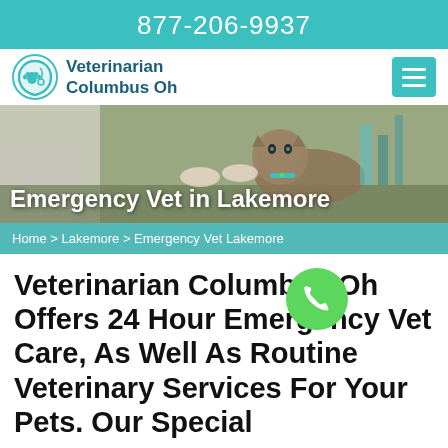877-206-9937
[Figure (logo): Veterinarian Columbus Oh logo with a heart containing a paw print and stethoscope]
Veterinarian Columbus Oh
[Figure (photo): Veterinarian examining a Siamese cat on an examination table]
Emergency Vet in Lakemore
Home > Lakemore > Emergency Vet Lakemore
Veterinarian Columbus Oh Offers 24 Hour Emergency Vet Care, As Well As Routine Veterinary Services For Your Pets. Our Special